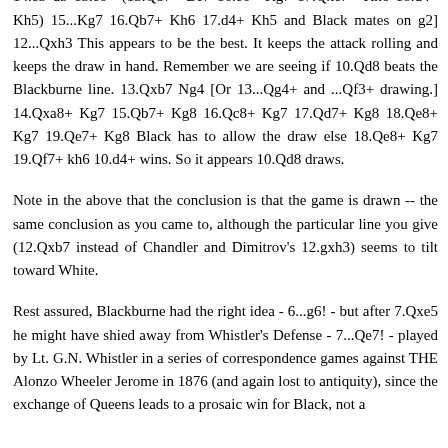Qg4 13.Qxa8+ Kh7 (13...Kg7 14.e5 d5 15.exb6+ Kxb6 16.Qxd5) 14.e5 d5 15.e6+ (15.Qb7+ Be7 16.e6+ Kg7 17.Qxe7+ Kh6 18.d4+ Kh5) 15...Kg7 16.Qb7+ Kh6 17.d4+ Kh5 and Black mates on g2] 12...Qxh3 This appears to be the best. It keeps the attack rolling and keeps the draw in hand. Remember we are seeing if 10.Qd8 beats the Blackburne line. 13.Qxb7 Ng4 [Or 13...Qg4+ and ...Qf3+ drawing.] 14.Qxa8+ Kg7 15.Qb7+ Kg8 16.Qc8+ Kg7 17.Qd7+ Kg8 18.Qe8+ Kg7 19.Qe7+ Kg8 Black has to allow the draw else 18.Qe8+ Kg7 19.Qf7+ kh6 10.d4+ wins. So it appears 10.Qd8 draws.
Note in the above that the conclusion is that the game is drawn -- the same conclusion as you came to, although the particular line you give (12.Qxb7 instead of Chandler and Dimitrov's 12.gxh3) seems to tilt toward White.
Rest assured, Blackburne had the right idea - 6...g6! - but after 7.Qxe5 he might have shied away from Whistler's Defense - 7...Qe7! - played by Lt. G.N. Whistler in a series of correspondence games against THE Alonzo Wheeler Jerome in 1876 (and again lost to antiquity), since the exchange of Queens leads to a prosaic win for Black, not a